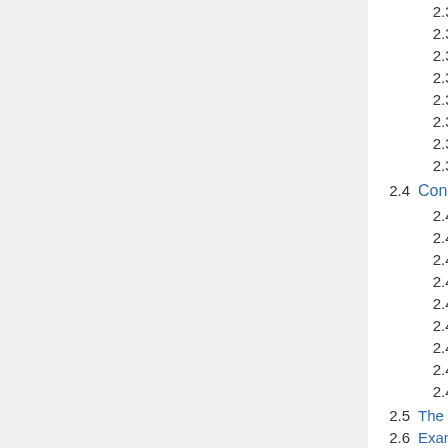2.3.1 Keep group 18
2.3.2 Keep group 20
2.3.3 Keep group 28
2.3.4 Keep safe private elements
2.3.5 Remove private groups
2.3.6 Remove unchecked elements
2.3.7 Remove curves
2.3.8 Remove overlays
2.4 Conditional Functions
2.4.1 @if(ElementName,exists)
2.4.2 @if(ElementName,isblank)
2.4.3 @if(ElementName,equals,"str...
2.4.4 @if(ElementName,contains,"s...
2.4.5 @if(ElementName,matches,"r...
2.4.6 @if(ElementName,greaterthan...
2.4.7 @quarantine( )
2.4.8 @select( )
2.4.9 @skip( )
2.5 The DeIdentificationMethodCodeSe...
2.6 Examples